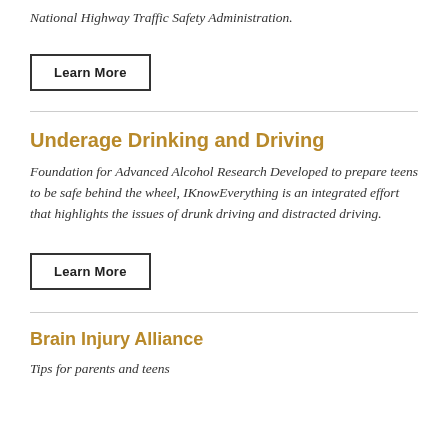National Highway Traffic Safety Administration.
Learn More
Underage Drinking and Driving
Foundation for Advanced Alcohol Research Developed to prepare teens to be safe behind the wheel, IKnowEverything is an integrated effort that highlights the issues of drunk driving and distracted driving.
Learn More
Brain Injury Alliance
Tips for parents and teens